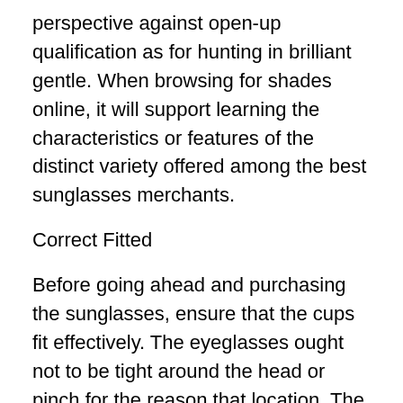perspective against open-up qualification as for hunting in brilliant gentle. When browsing for shades online, it will support learning the characteristics or features of the distinct variety offered among the best sunglasses merchants.
Correct Fitted
Before going ahead and purchasing the sunglasses, ensure that the cups fit effectively. The eyeglasses ought not to be tight around the head or pinch for the reason that location. The whole body weight of the sunglasses should be distributed appropriately between